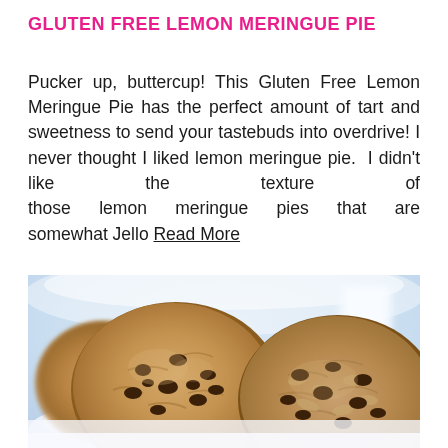GLUTEN FREE LEMON MERINGUE PIE
Pucker up, buttercup! This Gluten Free Lemon Meringue Pie has the perfect amount of tart and sweetness to send your tastebuds into overdrive! I never thought I liked lemon meringue pie. I didn't like the texture of those lemon meringue pies that are somewhat Jello Read More
[Figure (photo): Close-up photo of chocolate chip cookies on a white plate with a blurred light blue background and a glass of milk]